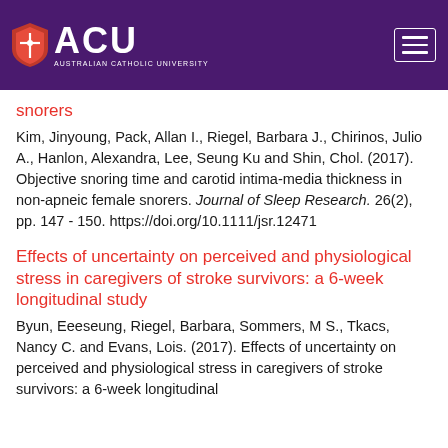ACU - Australian Catholic University
snorers
Kim, Jinyoung, Pack, Allan I., Riegel, Barbara J., Chirinos, Julio A., Hanlon, Alexandra, Lee, Seung Ku and Shin, Chol. (2017). Objective snoring time and carotid intima-media thickness in non-apneic female snorers. Journal of Sleep Research. 26(2), pp. 147 - 150. https://doi.org/10.1111/jsr.12471
Effects of uncertainty on perceived and physiological stress in caregivers of stroke survivors: a 6-week longitudinal study
Byun, Eeeseung, Riegel, Barbara, Sommers, M S., Tkacs, Nancy C. and Evans, Lois. (2017). Effects of uncertainty on perceived and physiological stress in caregivers of stroke survivors: a 6-week longitudinal